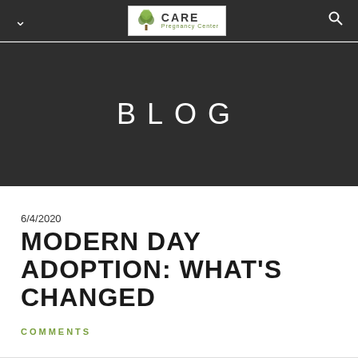CARE Pregnancy Center — navigation bar with logo
BLOG
6/4/2020
MODERN DAY ADOPTION: WHAT'S CHANGED
COMMENTS